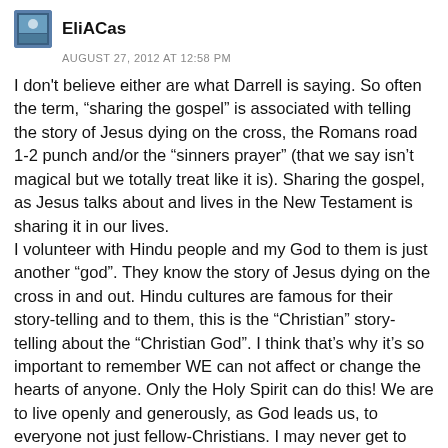EliACas
AUGUST 27, 2012 AT 12:58 PM
I don't believe either are what Darrell is saying. So often the term, “sharing the gospel” is associated with telling the story of Jesus dying on the cross, the Romans road 1-2 punch and/or the “sinners prayer” (that we say isn’t magical but we totally treat like it is). Sharing the gospel, as Jesus talks about and lives in the New Testament is sharing it in our lives.
I volunteer with Hindu people and my God to them is just another “god”. They know the story of Jesus dying on the cross in and out. Hindu cultures are famous for their story-telling and to them, this is the “Christian” story-telling about the “Christian God”. I think that’s why it’s so important to remember WE can not affect or change the hearts of anyone. Only the Holy Spirit can do this! We are to live openly and generously, as God leads us, to everyone not just fellow-Christians. I may never get to have the “salvation” conversation with the